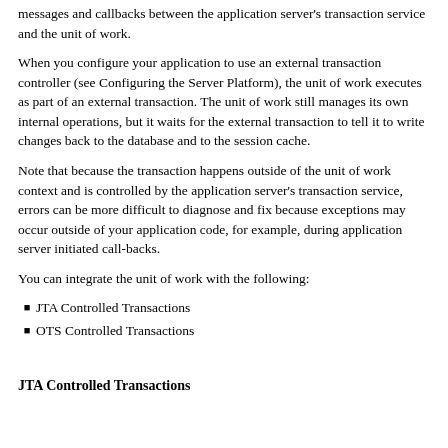messages and callbacks between the application server's transaction service and the unit of work.
When you configure your application to use an external transaction controller (see Configuring the Server Platform), the unit of work executes as part of an external transaction. The unit of work still manages its own internal operations, but it waits for the external transaction to tell it to write changes back to the database and to the session cache.
Note that because the transaction happens outside of the unit of work context and is controlled by the application server's transaction service, errors can be more difficult to diagnose and fix because exceptions may occur outside of your application code, for example, during application server initiated call-backs.
You can integrate the unit of work with the following:
JTA Controlled Transactions
OTS Controlled Transactions
JTA Controlled Transactions